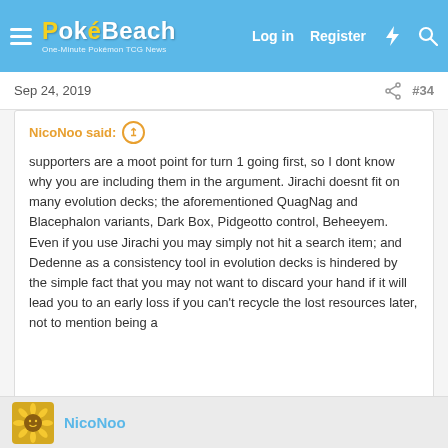PokéBeach — Log in  Register
Sep 24, 2019  #34
NicoNoo said: supporters are a moot point for turn 1 going first, so I dont know why you are including them in the argument. Jirachi doesnt fit on many evolution decks; the aforementioned QuagNag and Blacephalon variants, Dark Box, Pidgeotto control, Beheeyem. Even if you use Jirachi you may simply not hit a search item; and Dedenne as a consistency tool in evolution decks is hindered by the simple fact that you may not want to discard your hand if it will lead you to an early loss if you can't recycle the lost resources later, not to mention being a  Click to expand...
Yes, pidgeotto control did well at worlds, but you don't see it to often. Besides, it's goal is to stall, so it isn't truthfully effected too poorly. It can take a knockout or two, because it's all non gx. Beheeyem has barely been played, and dark box fell of the face of the earth.
NicoNoo